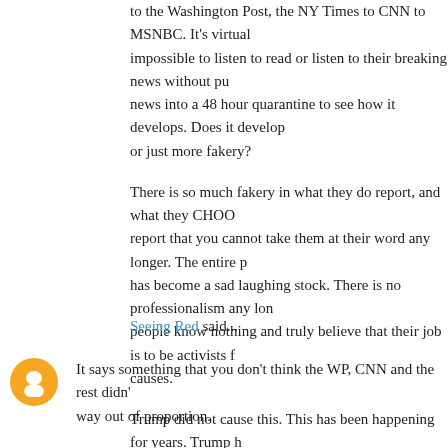to the Washington Post, the NY Times to CNN to MSNBC. It's virtually impossible to listen to read or listen to their breaking news without putting news into a 48 hour quarantine to see how it develops. Does it develop or just more fakery?
There is so much fakery in what they do report, and what they CHOOSE to report that you cannot take them at their word any longer. The entire press has become a sad laughing stock. There is no professionalism any longer, people know nothing and truly believe that their job is to be activists for causes.
Trump did not cause this. This has been happening for years. Trump brought them all out of their holes to stand in the light. It's not a good
1/20/19, 10:08 PM
Seeing Red said...
It says something that you don't think the WP, CNN and the rest didn't way out of proportion.